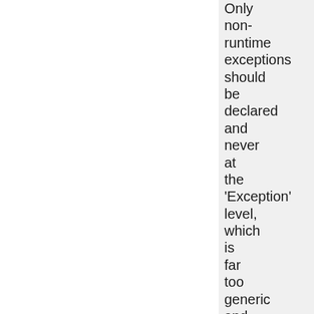Only non-runtime exceptions should be declared and never at the 'Exception' level, which is far too generic and forces every caller to deal with something